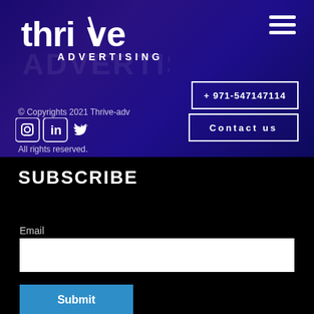[Figure (logo): Thrive Advertising logo with white text on dark purple/navy background, showing 'thrive ADVERTISING' with watermark]
[Figure (infographic): Hamburger menu icon (three horizontal lines) in white on upper right]
+ 971-547147114
Contact us
© Copyrights 2021 Thrive-adv
[Figure (infographic): Social media icons: Instagram (camera outline), LinkedIn (in box), Twitter (bird)]
All rights reserved.
SUBSCRIBE
Email
Submit